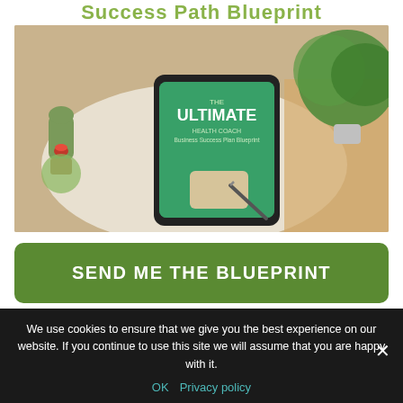Success Path Blueprint
[Figure (photo): Tablet on a white table showing 'The Ultimate Health Coach Business Success Plan Blueprint' cover, surrounded by cacti and green plants]
SEND ME THE BLUEPRINT
We use cookies to ensure that we give you the best experience on our website. If you continue to use this site we will assume that you are happy with it.
OK  Privacy policy